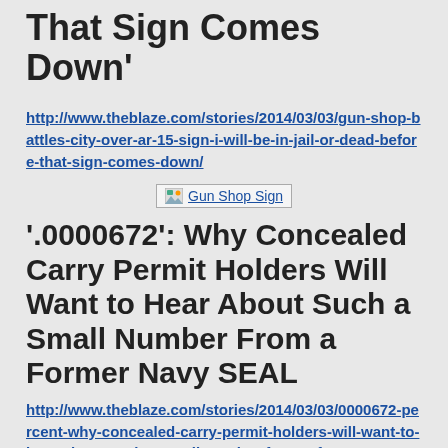That Sign Comes Down'
http://www.theblaze.com/stories/2014/03/03/gun-shop-battles-city-over-ar-15-sign-i-will-be-in-jail-or-dead-before-that-sign-comes-down/
[Figure (photo): Gun Shop Sign image placeholder]
'.0000672': Why Concealed Carry Permit Holders Will Want to Hear About Such a Small Number From a Former Navy SEAL
http://www.theblaze.com/stories/2014/03/03/0000672-percent-why-concealed-carry-permit-holders-will-want-to-hear-about-such-a-small-number-from-a-former-navy-seal/